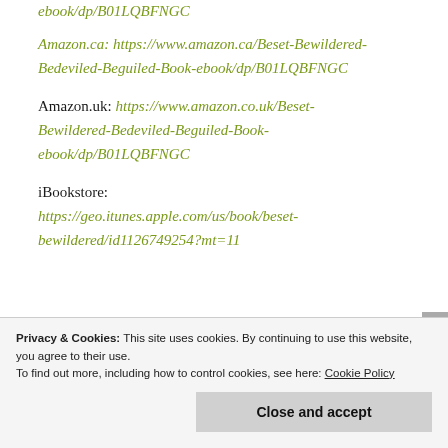Amazon.ca: https://www.amazon.ca/Beset-Bewildered-Bedeviled-Beguiled-Book-ebook/dp/B01LQBFNGC
Amazon.uk: https://www.amazon.co.uk/Beset-Bewildered-Bedeviled-Beguiled-Book-ebook/dp/B01LQBFNGC
iBookstore: https://geo.itunes.apple.com/us/book/beset-bewildered/id1126749254?mt=11
Privacy & Cookies: This site uses cookies. By continuing to use this website, you agree to their use. To find out more, including how to control cookies, see here: Cookie Policy
Close and accept